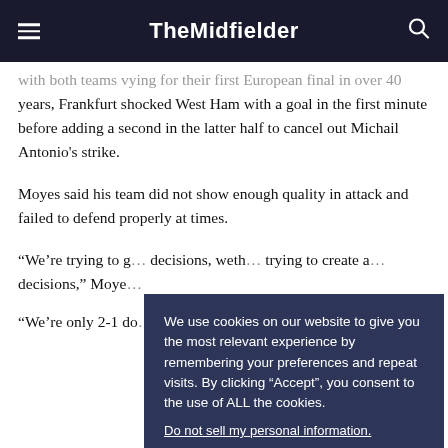TheMidfielder
with both teams vying for their first European final in over 40 years, Frankfurt shocked West Ham with a goal in the first minute before adding a second in the latter half to cancel out Michail Antonio's strike.
Moyes said his team did not show enough quality in attack and failed to defend properly at times.
“We’re trying to g… decisions, wheth… trying to create a… decisions,” Moye…
“We’re only 2-1 do… going, but we kno… standards if we’re…
We use cookies on our website to give you the most relevant experience by remembering your preferences and repeat visits. By clicking “Accept”, you consent to the use of ALL the cookies.
Do not sell my personal information.